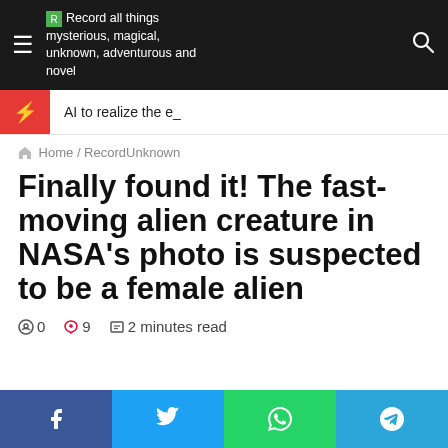Record all things mysterious, magical, unknown, adventurous and novel
AI to realize the e_
🏠 Home / RecordUnknown
Finally found it! The fast-moving alien creature in NASA's photo is suspected to be a female alien
0  9  2 minutes read